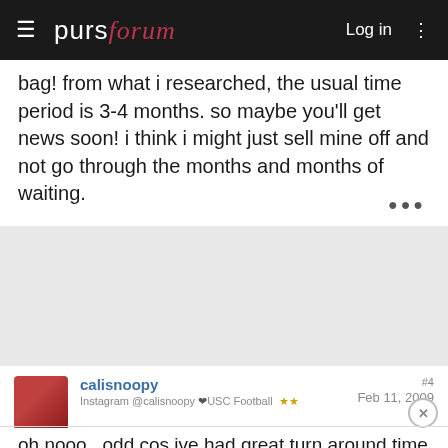purseforum — Log in
bag! from what i researched, the usual time period is 3-4 months. so maybe you'll get news soon! i think i might just sell mine off and not go through the months and months of waiting.
[Figure (other): Gray advertisement block / empty ad placeholder]
calisnoopy
Instagram @calisnoopy ❤USC Football
Feb 11, 2009
#4
oh nooo...odd cos ive had great turn around time in my Chanel repairs *fingers crossed* at Chanel Tysons...once my bag